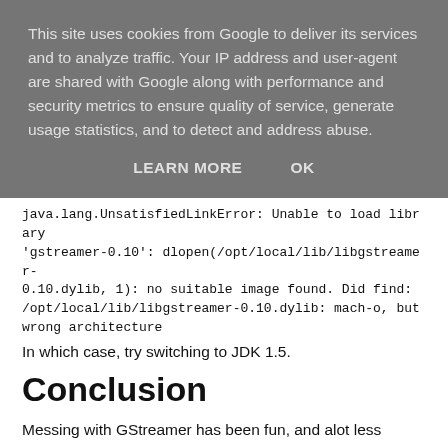This site uses cookies from Google to deliver its services and to analyze traffic. Your IP address and user-agent are shared with Google along with performance and security metrics to ensure quality of service, generate usage statistics, and to detect and address abuse.
LEARN MORE   OK
java.lang.UnsatisfiedLinkError: Unable to load library 'gstreamer-0.10': dlopen(/opt/local/lib/libgstreamer-0.10.dylib, 1): no suitable image found. Did find: /opt/local/lib/libgstreamer-0.10.dylib: mach-o, but wrong architecture
In which case, try switching to JDK 1.5.
Conclusion
Messing with GStreamer has been fun, and alot less hopeless than f*cking with Java on Blu-Ray. Their web page could need a overhauling when it comes to finding essential information quickly, and messing with native applications is not what Java developers like to do. But the simplicity and